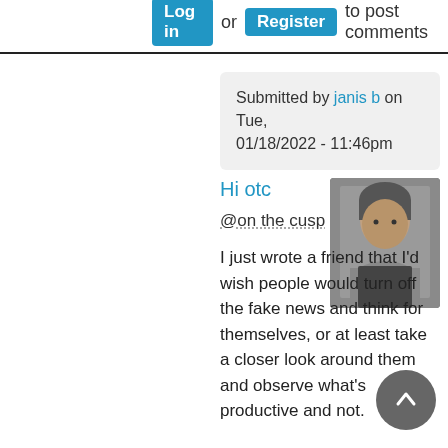Log in or Register to post comments
Submitted by janis b on Tue, 01/18/2022 - 11:46pm
Hi otc
@on the cusp
[Figure (photo): Profile photo of a woman with short grey hair]
I just wrote a friend that I'd wish people would turn off the fake news and think for themselves, or at least take a closer look around them and observe what's productive and not.

Like you say, I really just don't get it. There was already enough separation from tribal